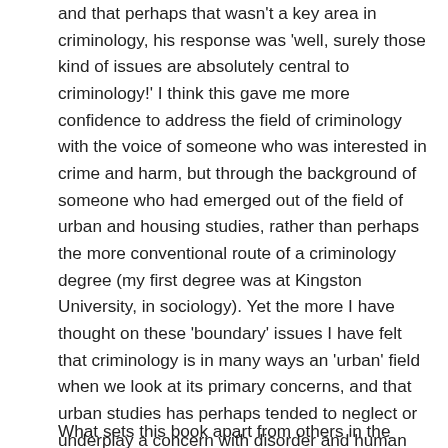and that perhaps that wasn't a key area in criminology, his response was 'well, surely those kind of issues are absolutely central to criminology!' I think this gave me more confidence to address the field of criminology with the voice of someone who was interested in crime and harm, but through the background of someone who had emerged out of the field of urban and housing studies, rather than perhaps the more conventional route of a criminology degree (my first degree was at Kingston University, in sociology). Yet the more I have thought on these 'boundary' issues I have felt that criminology is in many ways an 'urban' field when we look at its primary concerns, and that urban studies has perhaps tended to neglect or underplay a concern with disorder and human harm when, in so many ways, it is concerned with the harm to human potential that emerges from poverty and hardship, the geography of opportunity, inequality, low-skills and housing systems.
What sets this book apart from others in the field?